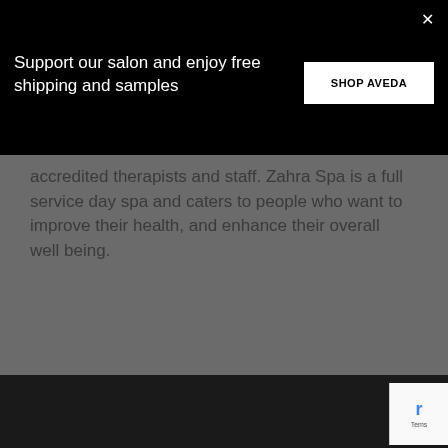×
Support our salon and enjoy free shipping and samples
[Figure (other): SHOP AVEDA button - white rectangle on black background]
accredited therapists and staff. Zahra Spa is a full service day spa and caters to people who want to improve their health, and enhance their overall well being.
[Figure (screenshot): YouTube video thumbnail showing Kelowna Hair Salon | Best Beau... with channel logo and video menu icon]
[Figure (other): reCAPTCHA badge with Terms text]